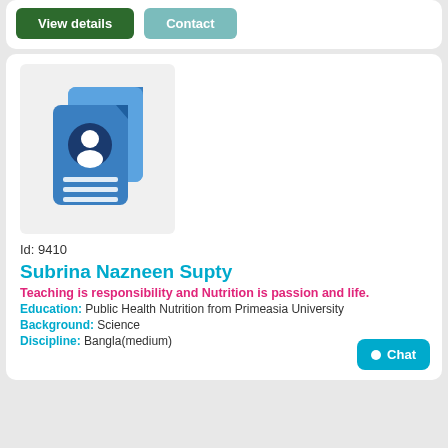[Figure (other): Two buttons: 'View details' (dark green) and 'Contact' (teal)]
[Figure (illustration): A blue document/profile card icon with a person silhouette and lines representing text]
Id: 9410
Subrina Nazneen Supty
Teaching is responsibility and Nutrition is passion and life.
Education: Public Health Nutrition from Primeasia University
Background: Science
Discipline: Bangla(medium)